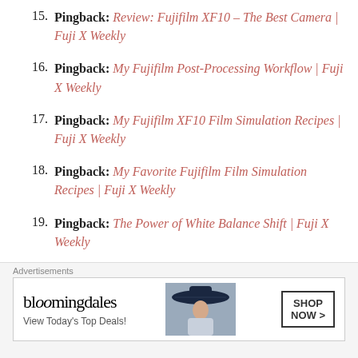15. Pingback: Review: Fujifilm XF10 – The Best Camera | Fuji X Weekly
16. Pingback: My Fujifilm Post-Processing Workflow | Fuji X Weekly
17. Pingback: My Fujifilm XF10 Film Simulation Recipes | Fuji X Weekly
18. Pingback: My Favorite Fujifilm Film Simulation Recipes | Fuji X Weekly
19. Pingback: The Power of White Balance Shift | Fuji X Weekly
[Figure (other): Bloomingdale's advertisement banner: bloomingdales logo, 'View Today's Top Deals!', woman with hat image, 'SHOP NOW >' button]